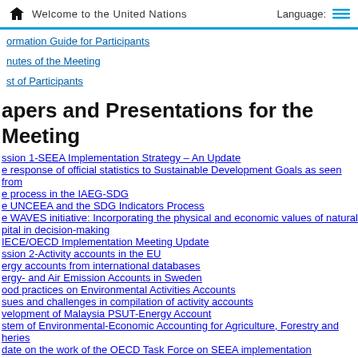Welcome to the United Nations
ormation Guide for Participants
nutes of the Meeting
st of Participants
apers and Presentations for the Meeting
ssion 1-SEEA Implementation Strategy – An Update
e response of official statistics to Sustainable Development Goals as seen from e process in the IAEG-SDG
e UNCEEA and the SDG Indicators Process
e WAVES initiative: Incorporating the physical and economic values of natural pital in decision-making
IECE/OECD Implementation Meeting Update
ssion 2-Activity accounts in the EU
ergy accounts from international databases
ergy- and Air Emission Accounts in Sweden
ood practices on Environmental Activities Accounts
sues and challenges in compilation of activity accounts
velopment of Malaysia PSUT-Energy Account
stem of Environmental-Economic Accounting for Agriculture, Forestry and heries
date on the work of the OECD Task Force on SEEA implementation